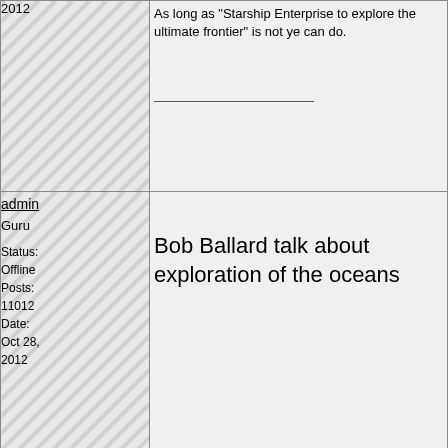2012
As long as "Starship Enterprise to explore the ultimate frontier" is not ye can do.
admin
Guru
Status: Offline
Posts: 11012
Date: Oct 28, 2012
Bob Ballard talk about exploration of the oceans